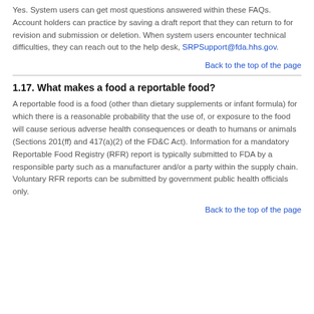Yes. System users can get most questions answered within these FAQs. Account holders can practice by saving a draft report that they can return to for revision and submission or deletion. When system users encounter technical difficulties, they can reach out to the help desk, SRPSupport@fda.hhs.gov.
Back to the top of the page
1.17. What makes a food a reportable food?
A reportable food is a food (other than dietary supplements or infant formula) for which there is a reasonable probability that the use of, or exposure to the food will cause serious adverse health consequences or death to humans or animals (Sections 201(ff) and 417(a)(2) of the FD&C Act). Information for a mandatory Reportable Food Registry (RFR) report is typically submitted to FDA by a responsible party such as a manufacturer and/or a party within the supply chain. Voluntary RFR reports can be submitted by government public health officials only.
Back to the top of the page